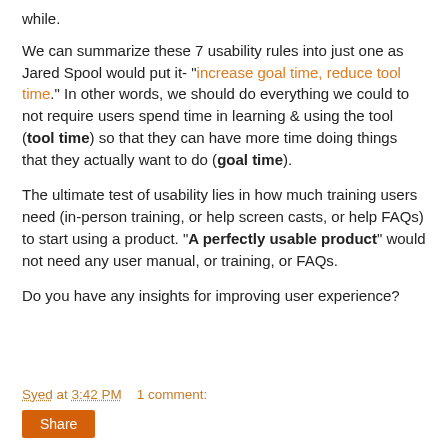while.
We can summarize these 7 usability rules into just one as Jared Spool would put it- "increase goal time, reduce tool time." In other words, we should do everything we could to not require users spend time in learning & using the tool (tool time) so that they can have more time doing things that they actually want to do (goal time).
The ultimate test of usability lies in how much training users need (in-person training, or help screen casts, or help FAQs) to start using a product. "A perfectly usable product" would not need any user manual, or training, or FAQs.
Do you have any insights for improving user experience?
Syed at 3:42 PM   1 comment: